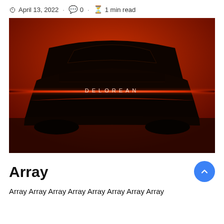April 13, 2022 · 0 · 1 min read
[Figure (photo): Dark teaser photo of the rear of a DeLorean vehicle with glowing red horizontal light bar and the word DELOREAN lit up, against a red-orange background]
Array
Array Array Array Array Array Array Array Array